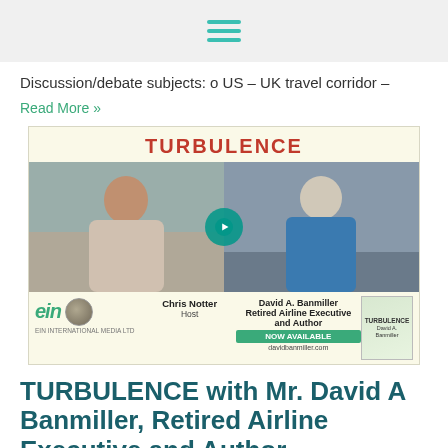Navigation menu (hamburger icon)
Discussion/debate subjects: o US – UK travel corridor –
Read More »
[Figure (screenshot): Turbulence video thumbnail showing two people (Chris Notter - Host, David A. Banmiller - Retired Airline Executive and Author) with a play button overlay, EIN logo, globe logo, NOW AVAILABLE badge, davidbanmiller.com, and book cover]
TURBULENCE with Mr. David A Banmiller, Retired Airline Executive and Author